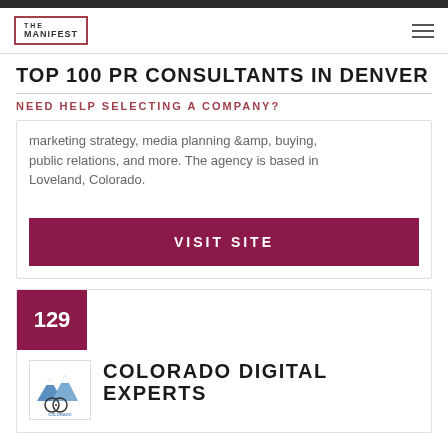THE MANIFEST
TOP 100 PR CONSULTANTS IN DENVER
NEED HELP SELECTING A COMPANY?
marketing strategy, media planning &amp; buying, public relations, and more. The agency is based in Loveland, Colorado.
VISIT SITE
129
[Figure (logo): Colorado Digital Experts company logo]
COLORADO DIGITAL EXPERTS